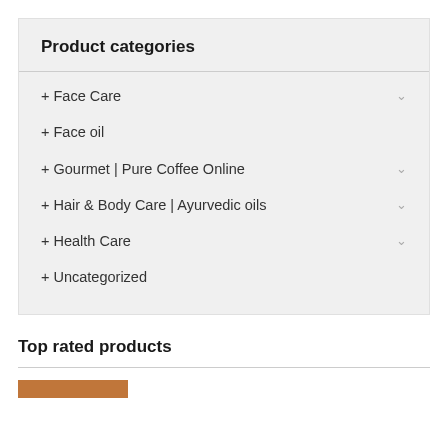Product categories
+ Face Care
+ Face oil
+ Gourmet | Pure Coffee Online
+ Hair & Body Care | Ayurvedic oils
+ Health Care
+ Uncategorized
Top rated products